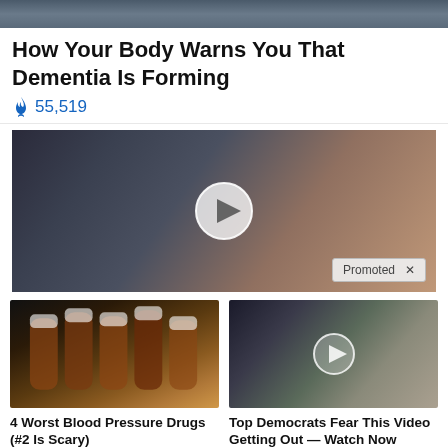[Figure (photo): Top banner photo strip showing people at an event]
How Your Body Warns You That Dementia Is Forming
🔥 55,519
[Figure (photo): Video thumbnail showing two people, with a play button overlay and a Promoted badge]
[Figure (photo): Thumbnail of prescription pill bottles]
4 Worst Blood Pressure Drugs (#2 Is Scary)
🔥 47,632
[Figure (photo): Video thumbnail showing two people with a play button overlay]
Top Democrats Fear This Video Getting Out — Watch Now Before It's Banned
🔥 281,772